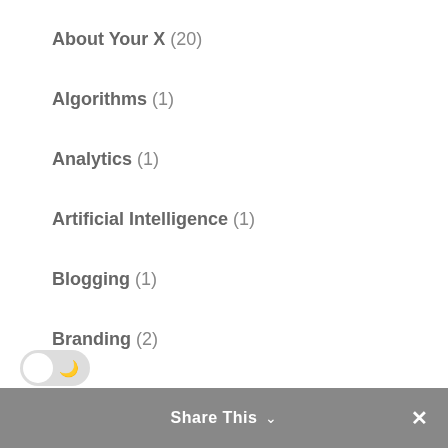About Your X (20)
Algorithms (1)
Analytics (1)
Artificial Intelligence (1)
Blogging (1)
Branding (2)
Building A Brand (38)
Business (2)
Business Development (59)
Design (1)
Google For Business (1)
Share This ×